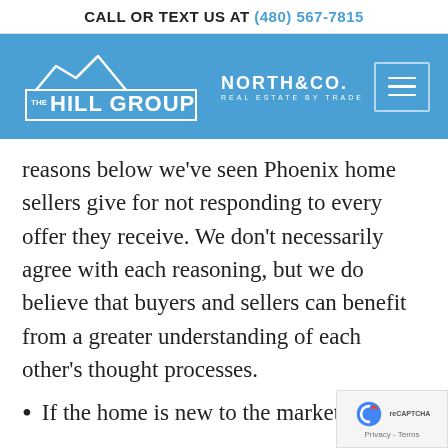CALL OR TEXT US AT (480) 567-7815
[Figure (logo): The Hill Group and North & Co. Real Estate By Trade navigation header bar with hamburger menu icon on blue background]
reasons below we've seen Phoenix home sellers give for not responding to every offer they receive. We don't necessarily agree with each reasoning, but we do believe that buyers and sellers can benefit from a greater understanding of each other's thought processes.
If the home is new to the market, s…